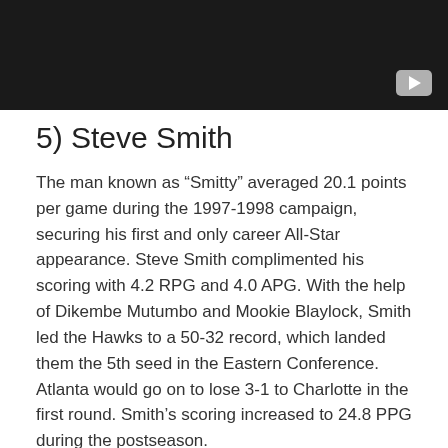[Figure (screenshot): Black video banner/thumbnail with a gray YouTube-style play button in the bottom right corner]
5) Steve Smith
The man known as “Smitty” averaged 20.1 points per game during the 1997-1998 campaign, securing his first and only career All-Star appearance. Steve Smith complimented his scoring with 4.2 RPG and 4.0 APG. With the help of Dikembe Mutumbo and Mookie Blaylock, Smith led the Hawks to a 50-32 record, which landed them the 5th seed in the Eastern Conference. Atlanta would go on to lose 3-1 to Charlotte in the first round. Smith’s scoring increased to 24.8 PPG during the postseason.
Accolades